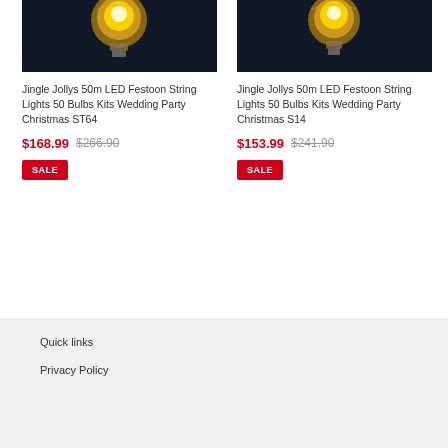[Figure (photo): Product photo of an Edison-style LED bulb against dark background - left product]
Jingle Jollys 50m LED Festoon String Lights 50 Bulbs Kits Wedding Party Christmas ST64
$168.99  $266.90
SALE
[Figure (photo): Product photo of an Edison-style LED bulb against dark background - right product]
Jingle Jollys 50m LED Festoon String Lights 50 Bulbs Kits Wedding Party Christmas S14
$153.99  $241.90
SALE
Quick links
Privacy Policy